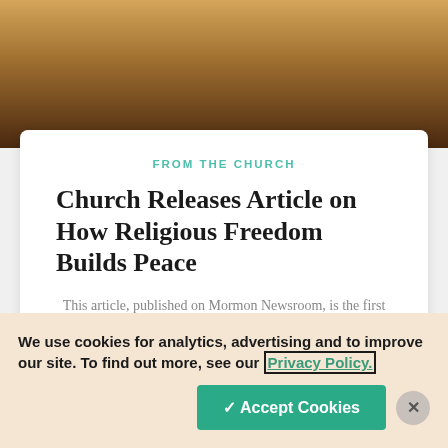[Figure (photo): Top portion of a photo showing a person silhouetted against a warm golden/amber background]
FROM THE CHURCH
Church Releases Article on How Religious Freedom Builds Peace
This article, published on Mormon Newsroom, is the first in a seven-part series on religious freedom around the world.
[Figure (photo): Bottom photo showing silver/metallic vertical pipes on the left and green plants/foliage on the right with wooden background]
We use cookies for analytics, advertising and to improve our site. To find out more, see our Privacy Policy.